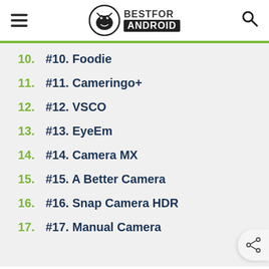BESTFOR ANDROID
10. #10. Foodie
11. #11. Cameringo+
12. #12. VSCO
13. #13. EyeEm
14. #14. Camera MX
15. #15. A Better Camera
16. #16. Snap Camera HDR
17. #17. Manual Camera